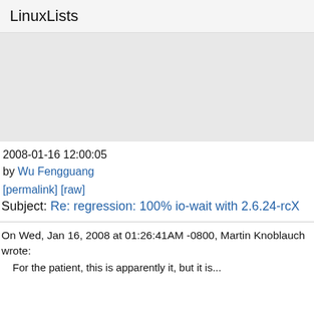LinuxLists
[Figure (other): Gray advertisement or placeholder image block]
2008-01-16 12:00:05
by Wu Fengguang
[permalink] [raw]
Subject: Re: regression: 100% io-wait with 2.6.24-rcX
On Wed, Jan 16, 2008 at 01:26:41AM -0800, Martin Knoblauch wrote:
For the patient, this is apparently it, but it is...